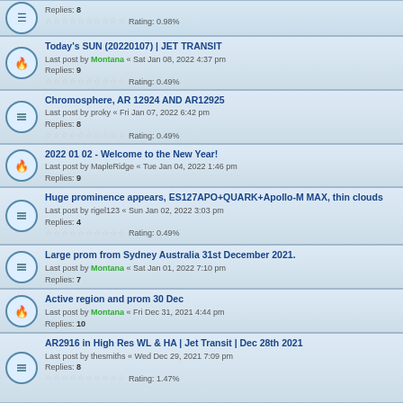Replies: 8
Rating: 0.98%
Today's SUN (20220107) | JET TRANSIT
Last post by Montana « Sat Jan 08, 2022 4:37 pm
Replies: 9
Rating: 0.49%
Chromosphere, AR 12924 AND AR12925
Last post by proky « Fri Jan 07, 2022 6:42 pm
Replies: 8
Rating: 0.49%
2022 01 02 - Welcome to the New Year!
Last post by MapleRidge « Tue Jan 04, 2022 1:46 pm
Replies: 9
Huge prominence appears, ES127APO+QUARK+Apollo-M MAX, thin clouds
Last post by rigel123 « Sun Jan 02, 2022 3:03 pm
Replies: 4
Rating: 0.49%
Large prom from Sydney Australia 31st December 2021.
Last post by Montana « Sat Jan 01, 2022 7:10 pm
Replies: 7
Active region and prom 30 Dec
Last post by Montana « Fri Dec 31, 2021 4:44 pm
Replies: 10
AR2916 in High Res WL & HA | Jet Transit | Dec 28th 2021
Last post by thesmiths « Wed Dec 29, 2021 7:09 pm
Replies: 8
Rating: 1.47%